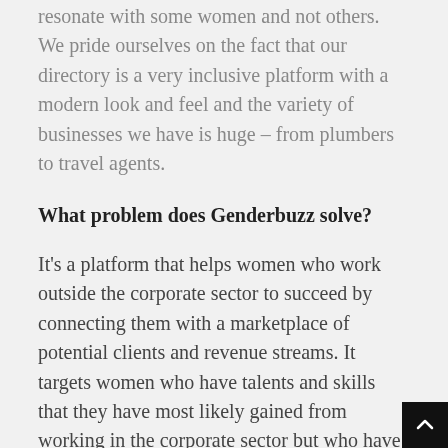resonate with some women and not others. We pride ourselves on the fact that our directory is a very inclusive platform with a modern look and feel and the variety of businesses we have is huge – from plumbers to travel agents.
What problem does Genderbuzz solve?
It's a platform that helps women who work outside the corporate sector to succeed by connecting them with a marketplace of potential clients and revenue streams. It targets women who have talents and skills that they have most likely gained from working in the corporate sector but who have decided to take those skills and strike out on their